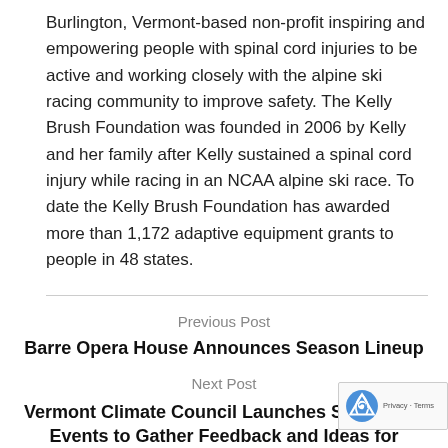Burlington, Vermont-based non-profit inspiring and empowering people with spinal cord injuries to be active and working closely with the alpine ski racing community to improve safety. The Kelly Brush Foundation was founded in 2006 by Kelly and her family after Kelly sustained a spinal cord injury while racing in an NCAA alpine ski race. To date the Kelly Brush Foundation has awarded more than 1,172 adaptive equipment grants to people in 48 states.
Previous Post
Barre Opera House Announces Season Lineup
Next Post
Vermont Climate Council Launches Series of Public Events to Gather Feedback and Ideas for Statewide